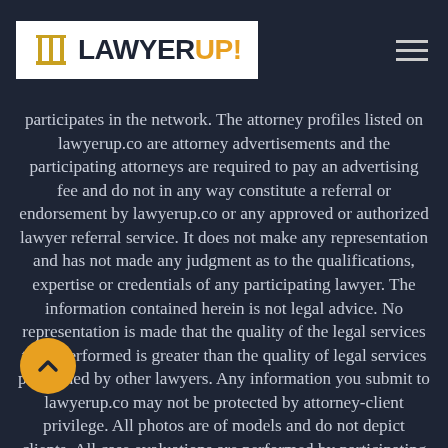[Figure (logo): LawyerUp! logo with columns icon on white background, hamburger menu icon top right]
participates in the network. The attorney profiles listed on lawyerup.co are attorney advertisements and the participating attorneys are required to pay an advertising fee and do not in any way constitute a referral or endorsement by lawyerup.co or any approved or authorized lawyer referral service. It does not make any representation and has not made any judgment as to the qualifications, expertise or credentials of any participating lawyer. The information contained herein is not legal advice. No representation is made that the quality of the legal services to be performed is greater than the quality of legal services performed by other lawyers. Any information you submit to lawyerup.co may not be protected by attorney-client privilege. All photos are of models and do not depict clients. All case evaluations are performed by participating attorneys.Your access of/to and use of this website is subject to additional Terms